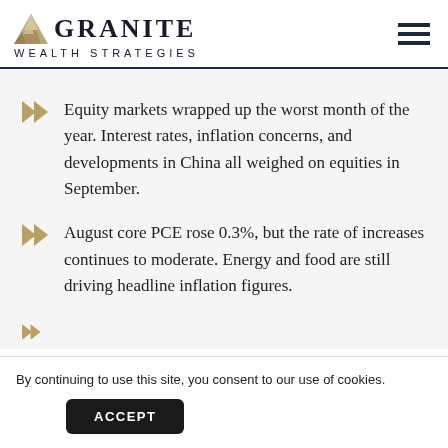GRANITE WEALTH STRATEGIES
Equity markets wrapped up the worst month of the year. Interest rates, inflation concerns, and developments in China all weighed on equities in September.
August core PCE rose 0.3%, but the rate of increases continues to moderate. Energy and food are still driving headline inflation figures.
By continuing to use this site, you consent to our use of cookies.